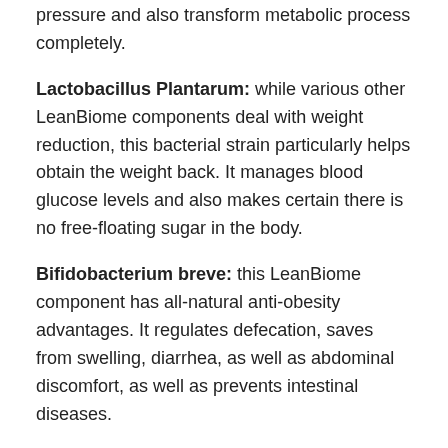pressure and also transform metabolic process completely.
Lactobacillus Plantarum: while various other LeanBiome components deal with weight reduction, this bacterial strain particularly helps obtain the weight back. It manages blood glucose levels and also makes certain there is no free-floating sugar in the body.
Bifidobacterium breve: this LeanBiome component has all-natural anti-obesity advantages. It regulates defecation, saves from swelling, diarrhea, as well as abdominal discomfort, as well as prevents intestinal diseases.
Bifidobacterium lactis: next in LeanBiome active ingredients is Bifidobacterium lactis, which minimizes stomach fat. It also saves from digestion disorders, specifically in more youthful adults.
Lactobacillus Rhamnosus: this stress advertises weight loss and also removes fat from the problematic locations, including the